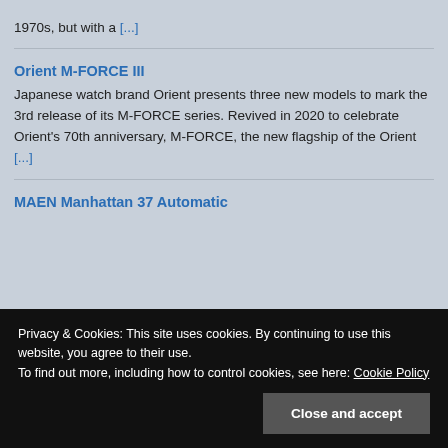1970s, but with a [...]
Orient M-FORCE III
Japanese watch brand Orient presents three new models to mark the 3rd release of its M-FORCE series. Revived in 2020 to celebrate Orient's 70th anniversary, M-FORCE, the new flagship of the Orient [...]
MAEN Manhattan 37 Automatic
Privacy & Cookies: This site uses cookies. By continuing to use this website, you agree to their use.
To find out more, including how to control cookies, see here: Cookie Policy
Close and accept